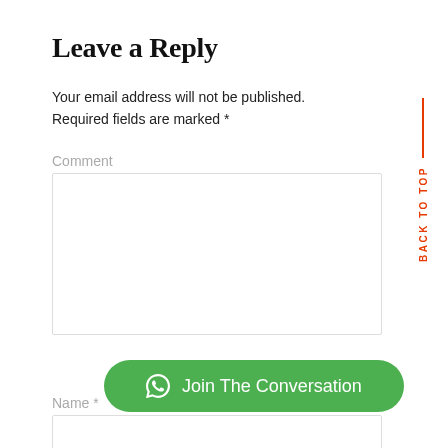Leave a Reply
Your email address will not be published. Required fields are marked *
Comment
Name *
BACK TO TOP
Join The Conversation